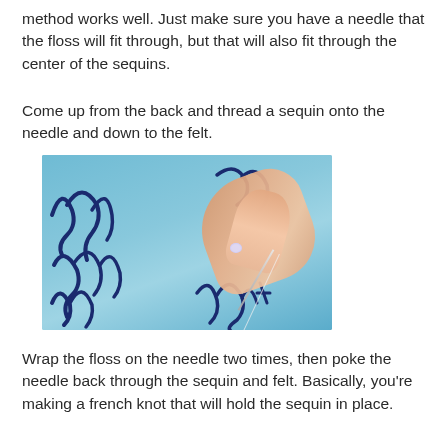method works well. Just make sure you have a needle that the floss will fit through, but that will also fit through the center of the sequins.
Come up from the back and thread a sequin onto the needle and down to the felt.
[Figure (photo): Close-up photo of a hand holding a needle over blue felt fabric with dark blue embroidery lettering, threading a small sequin.]
Wrap the floss on the needle two times, then poke the needle back through the sequin and felt. Basically, you’re making a french knot that will hold the sequin in place.